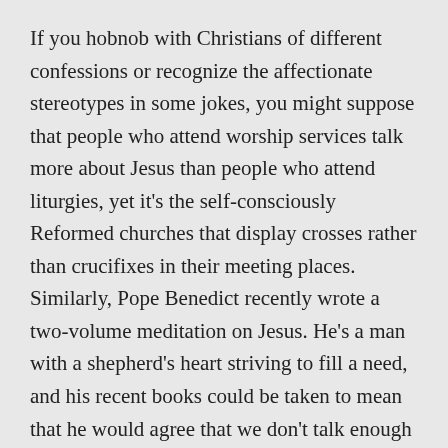If you hobnob with Christians of different confessions or recognize the affectionate stereotypes in some jokes, you might suppose that people who attend worship services talk more about Jesus than people who attend liturgies, yet it's the self-consciously Reformed churches that display crosses rather than crucifixes in their meeting places. Similarly, Pope Benedict recently wrote a two-volume meditation on Jesus. He's a man with a shepherd's heart striving to fill a need, and his recent books could be taken to mean that he would agree that we don't talk enough about Jesus. On the other hand, as anyone who read both volumes knows, the insights that the pope offered are built on a trifecta of prayer, trust in the gospel, and centuries of Christological scholarship, much of which was developed by Catholic and Lutheran theologians from whom the pope quotes.